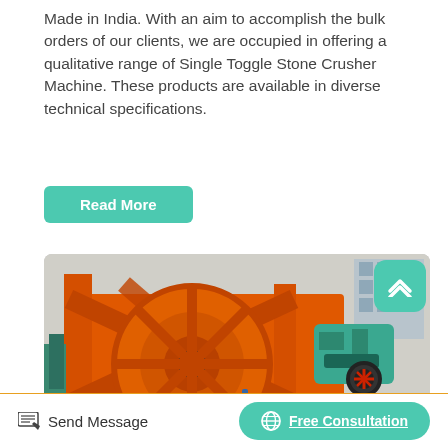Made in India. With an aim to accomplish the bulk orders of our clients, we are occupied in offering a qualitative range of Single Toggle Stone Crusher Machine. These products are available in diverse technical specifications.
Read More
[Figure (photo): Industrial orange-colored wheel/crusher machine equipment photographed outdoors, showing large orange metal wheel structure with teal/green motor components and conveyor parts]
Send Message
Free Consultation